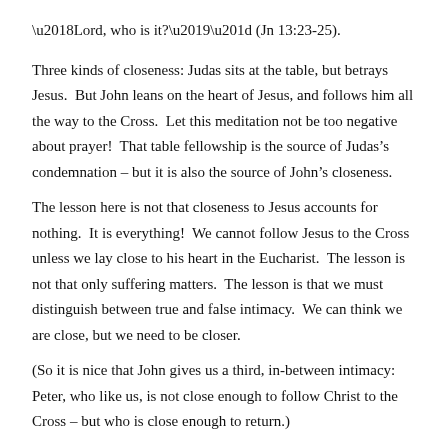'Lord, who is it?'" (Jn 13:23-25).
Three kinds of closeness: Judas sits at the table, but betrays Jesus.  But John leans on the heart of Jesus, and follows him all the way to the Cross.  Let this meditation not be too negative about prayer!  That table fellowship is the source of Judas’s condemnation – but it is also the source of John’s closeness.
The lesson here is not that closeness to Jesus accounts for nothing.  It is everything!  We cannot follow Jesus to the Cross unless we lay close to his heart in the Eucharist.  The lesson is not that only suffering matters.  The lesson is that we must distinguish between true and false intimacy.  We can think we are close, but we need to be closer.
(So it is nice that John gives us a third, in-between intimacy: Peter, who like us, is not close enough to follow Christ to the Cross – but who is close enough to return.)
***